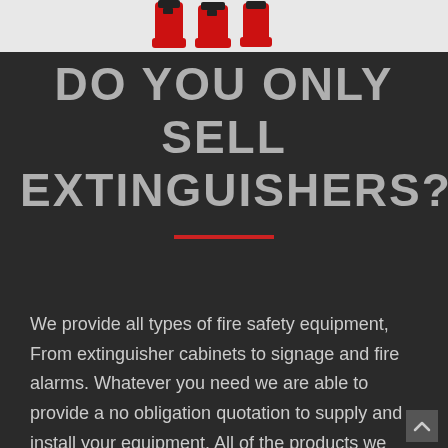[Figure (photo): Red fire extinguishers displayed against a white background, partially cropped at top of page]
DO YOU ONLY SELL EXTINGUISHERS?
We provide all types of fire safety equipment, From extinguisher cabinets to signage and fire alarms. Whatever you need we are able to provide a no obligation quotation to supply and install your equipment. All of the products we supply are